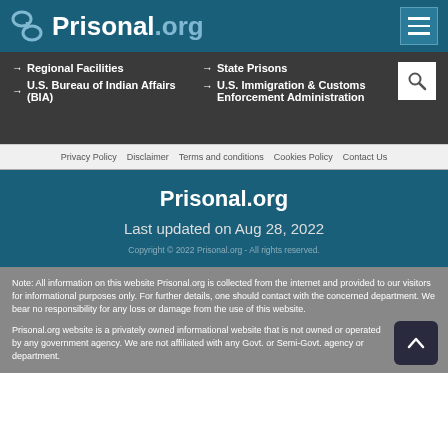Prisonal.org
→ Regional Facilities
→ State Prisons
→ U.S. Bureau of Indian Affairs (BIA)
→ U.S. Immigration & Customs Enforcement Administration
Privacy Policy   Disclaimer   Terms and conditions   Cookies Policy   Contact Us
Prisonal.org
Last updated on Aug 28, 2022
Copyright © 2022 Prisonal.org - All rights reserved.
Note: All information on this website Prisonal.org is collected from the internet and provided to our visitors for informational purposes only. For further details, one should contact with the concerned department. We bear no responsibility for any loss or damage from the use of this website.
Prisonal.org website is a privately owned informational website that is not owned or operated by any government agency. We are not affiliated with any Govt. or Semi-Govt. agency or department.